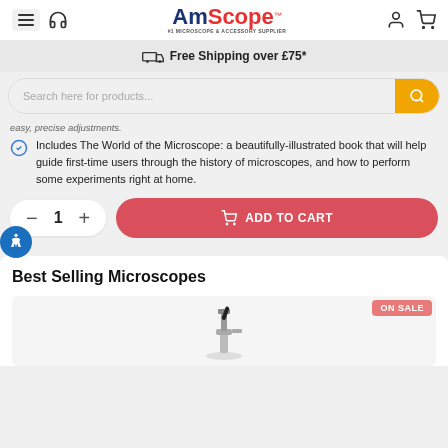[Figure (logo): AmScope logo with 'Am' in dark blue and 'Scope' in red, with TM symbol and tagline '#1 Microscope & Accessory Supplier']
Free Shipping over £75*
Search here for products...
easy, precise adjustments.
Includes The World of the Microscope: a beautifully-illustrated book that will help guide first-time users through the history of microscopes, and how to perform some experiments right at home.
1
ADD TO CART
Best Selling Microscopes
ON SALE